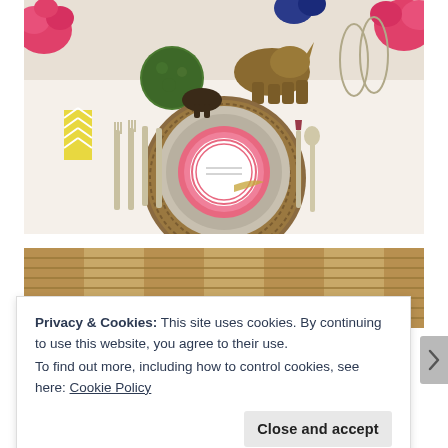[Figure (photo): Elegant table setting with woven charger plate, decorative filigree plate, pink circular menu card, gold silverware, pink flower centerpieces, bronze rhino figurine, and moss ball decorations on white tablecloth.]
[Figure (photo): Partial view of woven chairs or wicker furniture in warm brown tones.]
Privacy & Cookies: This site uses cookies. By continuing to use this website, you agree to their use.
To find out more, including how to control cookies, see here: Cookie Policy
Close and accept